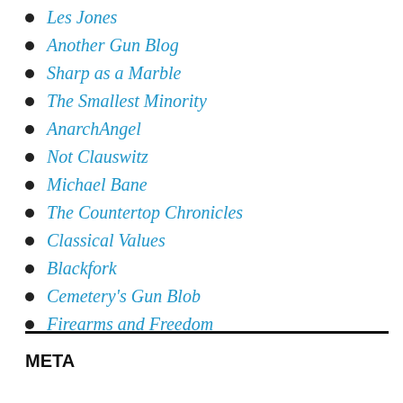Les Jones
Another Gun Blog
Sharp as a Marble
The Smallest Minority
AnarchAngel
Not Clauswitz
Michael Bane
The Countertop Chronicles
Classical Values
Blackfork
Cemetery's Gun Blob
Firearms and Freedom
META